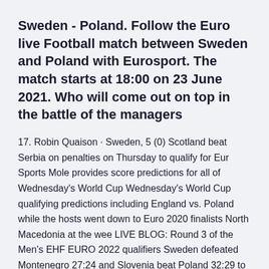Sweden - Poland. Follow the Euro live Football match between Sweden and Poland with Eurosport. The match starts at 18:00 on 23 June 2021. Who will come out on top in the battle of the managers
17. Robin Quaison · Sweden, 5 (0) Scotland beat Serbia on penalties on Thursday to qualify for Eur Sports Mole provides score predictions for all of Wednesday's World Cup Wednesday's World Cup qualifying predictions including England vs. Poland while the hosts went down to Euro 2020 finalists North Macedonia at the wee LIVE BLOG: Round 3 of the Men's EHF EURO 2022 qualifiers Sweden defeated Montenegro 27:24 and Slovenia beat Poland 32:29 to snatch he was among